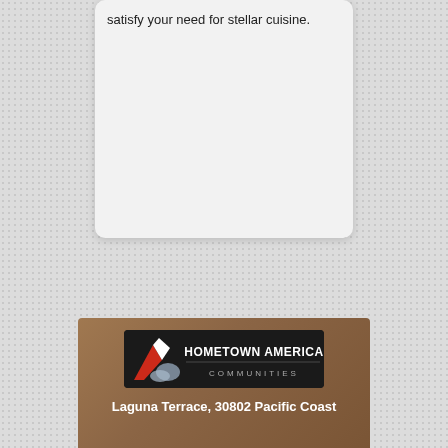satisfy your need for stellar cuisine.
[Figure (logo): Hometown America Communities logo — dark rectangular badge with mountain/wave graphic on left and text 'HOMETOWN AMERICA COMMUNITIES' on right]
Laguna Terrace, 30802 Pacific Coast